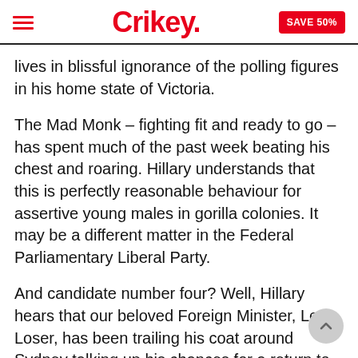Crikey. SAVE 50%
lives in blissful ignorance of the polling figures in his home state of Victoria.
The Mad Monk – fighting fit and ready to go – has spent much of the past week beating his chest and roaring. Hillary understands that this is perfectly reasonable behaviour for assertive young males in gorilla colonies. It may be a different matter in the Federal Parliamentary Liberal Party.
And candidate number four? Well, Hillary hears that our beloved Foreign Minister, Lex Loser, has been trailing his coat around Sydney talking up his chances for a return to the top job.